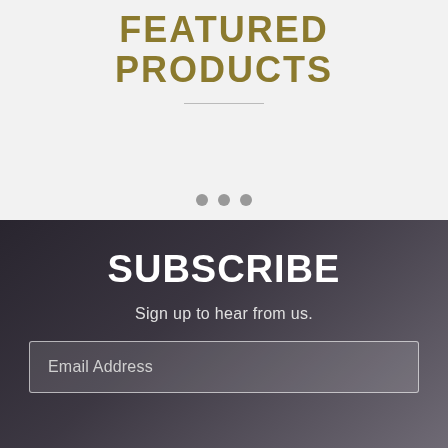FEATURED PRODUCTS
[Figure (other): Three gray dots (carousel indicator) on a light gray background section]
SUBSCRIBE
Sign up to hear from us.
Email Address